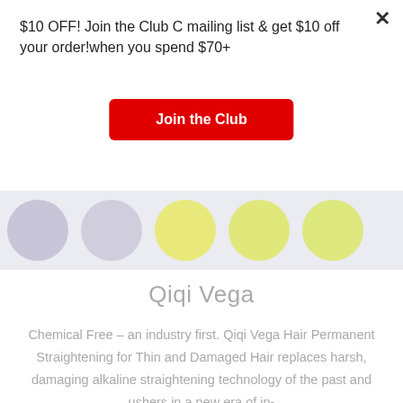$10 OFF! Join the Club C mailing list & get $10 off your order!when you spend $70+
Join the Club
[Figure (illustration): Partial view of color swatches/circles in light purple, yellow-green, and yellow-green tones on a light grey background strip]
Qiqi Vega
Chemical Free – an industry first. Qiqi Vega Hair Permanent Straightening for Thin and Damaged Hair replaces harsh, damaging alkaline straightening technology of the past and ushers in a new era of in-